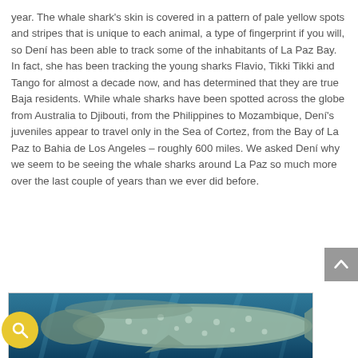year. The whale shark's skin is covered in a pattern of pale yellow spots and stripes that is unique to each animal, a type of fingerprint if you will, so Dení has been able to track some of the inhabitants of La Paz Bay. In fact, she has been tracking the young sharks Flavio, Tikki Tikki and Tango for almost a decade now, and has determined that they are true Baja residents. While whale sharks have been spotted across the globe from Australia to Djibouti, from the Philippines to Mozambique, Dení's juveniles appear to travel only in the Sea of Cortez, from the Bay of La Paz to Bahia de Los Angeles – roughly 600 miles. We asked Dení why we seem to be seeing the whale sharks around La Paz so much more over the last couple of years than we ever did before.
[Figure (photo): Underwater photograph of a whale shark showing its distinctive spotted pattern, viewed from below/side angle in blue water]